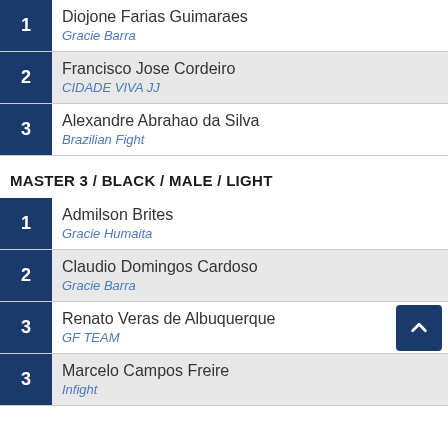1 Diojone Farias Guimaraes - Gracie Barra
2 Francisco Jose Cordeiro - CIDADE VIVA JJ
3 Alexandre Abrahao da Silva - Brazilian Fight
MASTER 3 / BLACK / MALE / LIGHT
1 Admilson Brites - Gracie Humaita
2 Claudio Domingos Cardoso - Gracie Barra
3 Renato Veras de Albuquerque - GF TEAM
3 Marcelo Campos Freire - Infight